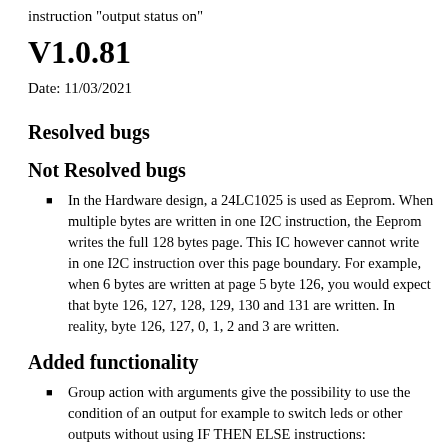instruction "output status on"
V1.0.81
Date: 11/03/2021
Resolved bugs
Not Resolved bugs
In the Hardware design, a 24LC1025 is used as Eeprom. When multiple bytes are written in one I2C instruction, the Eeprom writes the full 128 bytes page. This IC however cannot write in one I2C instruction over this page boundary. For example, when 6 bytes are written at page 5 byte 126, you would expect that byte 126, 127, 128, 129, 130 and 131 are written. In reality, byte 126, 127, 0, 1, 2 and 3 are written.
Added functionality
Group action with arguments give the possibility to use the condition of an output for example to switch leds or other outputs without using IF THEN ELSE instructions: